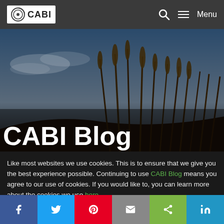CABI – Menu
[Figure (photo): Hero image of grass/reeds against a dark sky, with 'CABI Blog' title overlaid in large white bold text]
CABI Blog
Like most websites we use cookies. This is to ensure that we give you the best experience possible. Continuing to use CABI Blog means you agree to our use of cookies. If you would like to, you can learn more about the cookies we use here.
f  Twitter  Pinterest  Email  Share  in